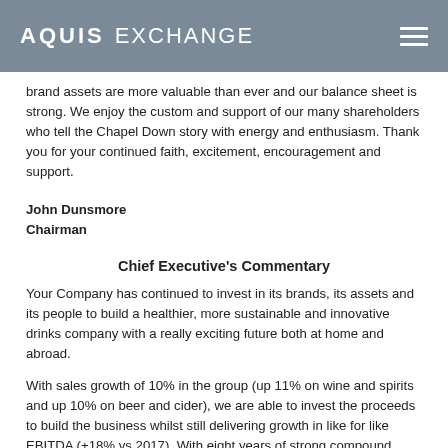AQUIS EXCHANGE
brand assets are more valuable than ever and our balance sheet is strong. We enjoy the custom and support of our many shareholders who tell the Chapel Down story with energy and enthusiasm. Thank you for your continued faith, excitement, encouragement and support.
John Dunsmore
Chairman
Chief Executive's Commentary
Your Company has continued to invest in its brands, its assets and its people to build a healthier, more sustainable and innovative drinks company with a really exciting future both at home and abroad.
With sales growth of 10% in the group (up 11% on wine and spirits and up 10% on beer and cider), we are able to invest the proceeds to build the business whilst still delivering growth in like for like EBITDA (+18% vs 2017). With eight years of strong compound revenue growth of 22% per annum, Chapel Down is